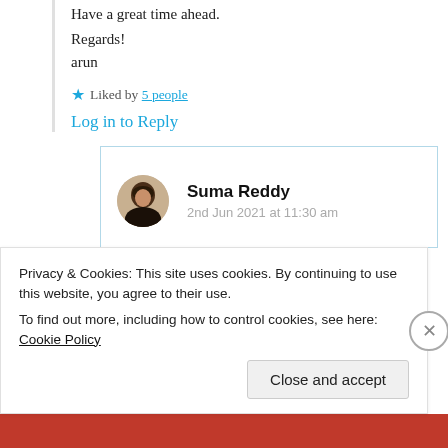Have a great time ahead.
Regards!
arun
★ Liked by 5 people
Log in to Reply
Suma Reddy
2nd Jun 2021 at 11:30 am
Privacy & Cookies: This site uses cookies. By continuing to use this website, you agree to their use.
To find out more, including how to control cookies, see here: Cookie Policy
Close and accept